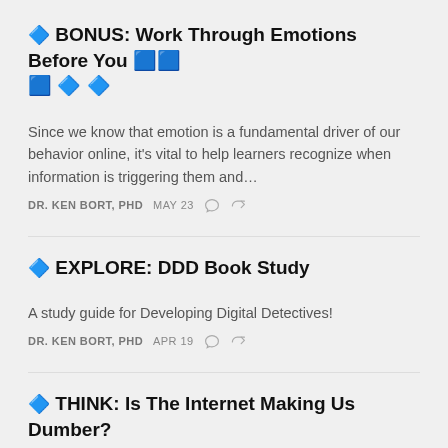🔷 BONUS: Work Through Emotions Before You 🟦🟦 🟦 🔷 🔷
Since we know that emotion is a fundamental driver of our behavior online, it's vital to help learners recognize when information is triggering them and…
DR. KEN BORT, PHD   MAY 23
🔷 EXPLORE: DDD Book Study
A study guide for Developing Digital Detectives!
DR. KEN BORT, PHD   APR 19
🔷 THINK: Is The Internet Making Us Dumber?
Spoiler: YES it is. AND it's by design!
DR. KEN BORT, PHD   APR 19
🖲 TEACH: Device Hacks